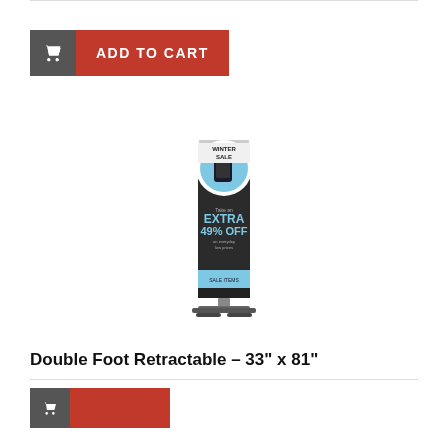[Figure (screenshot): Add to Cart button with shopping cart icon in dark grey box and red 'ADD TO CART' label]
[Figure (photo): Product image of a retractable banner stand displaying a 'Winter Sale - Extra 49% OFF' advertisement with a smartphone graphic. The stand is double-foot retractable style, dark colored with a light blue accent band at the bottom.]
Double Foot Retractable – 33" x 81"
[Figure (screenshot): Partial view of another Add to Cart button at bottom of page]